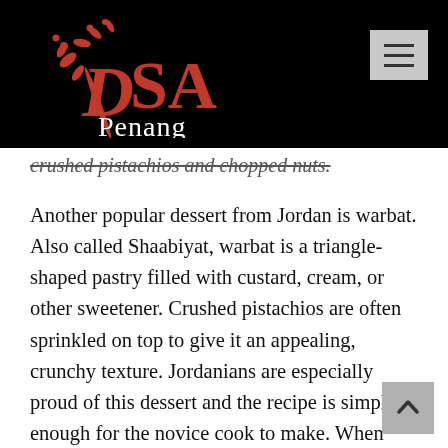DSA Penang
crushed pistachios and chopped nuts.
Another popular dessert from Jordan is warbat. Also called Shaabiyat, warbat is a triangle-shaped pastry filled with custard, cream, or other sweetener. Crushed pistachios are often sprinkled on top to give it an appealing, crunchy texture. Jordanians are especially proud of this dessert and the recipe is simple enough for the novice cook to make. When making Warbat, be sure to follow the recipe carefully.